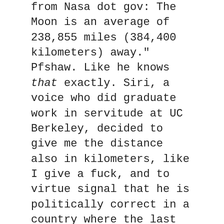from Nasa dot gov: The Moon is an average of 238,855 miles (384,400 kilometers) away." Pfshaw. Like he knows that exactly. Siri, a voice who did graduate work in servitude at UC Berkeley, decided to give me the distance also in kilometers, like I give a fuck, and to virtue signal that he is politically correct in a country where the last time we heard the word kilometer was on July 3, 1776, when General Sir William Howe asked his Colonel how far away the rebels were. He only wished the answer was in miles, not kilometers.
At my command, Siri then gave me the circumference of the moon's orbit around the earth, based on the radius I'd just asked about. I then Googled — giving Siri a chance to check its allegiance — the circumference of a circle with a